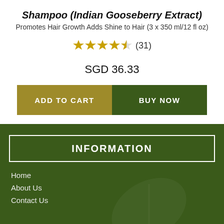Shampoo (Indian Gooseberry Extract)
Promotes Hair Growth Adds Shine to Hair (3 x 350 ml/12 fl oz)
★★★★½ (31)
SGD 36.33
ADD TO CART
BUY NOW
INFORMATION
Home
About Us
Contact Us